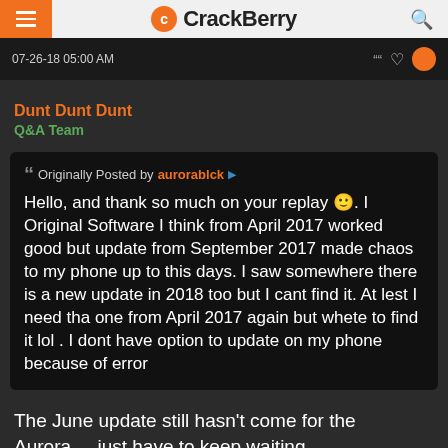CrackBerry
07-26-18 05:00 AM
Dunt Dunt Dunt
Q&A Team
Originally Posted by aurorablck

Hello, and thank so much on your replay 🙂. I Original Software I think from April 2017 worked good but update from September 2017 made chaos to my phone up to this days. I saw somewhere there is a new update in 2018 too but I cant find it. At lest I need tha one from April 2017 again but whete to find it lol . I dont have option to update on my phone because of error
The June update still hasn't come for the Aurora.... just have to keep waiting.
AFAIK